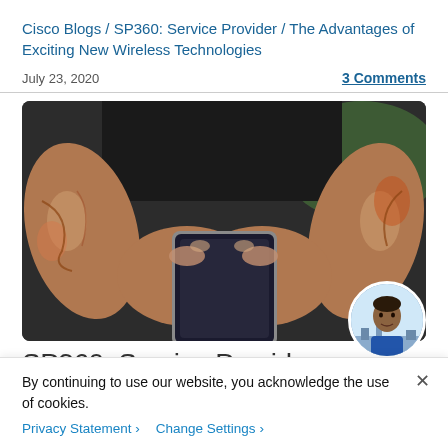Cisco Blogs / SP360: Service Provider / The Advantages of Exciting New Wireless Technologies
July 23, 2020
3 Comments
[Figure (photo): Tattooed hands holding a smartphone, close-up photo with blurred background]
[Figure (photo): Circular avatar portrait of a man outdoors]
SP360: Service Provider
By continuing to use our website, you acknowledge the use of cookies.
Privacy Statement > Change Settings >